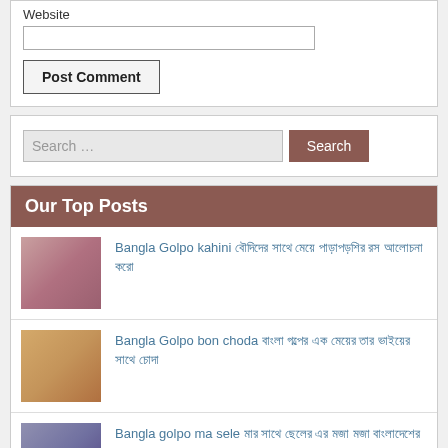Website
Post Comment
Search …
Our Top Posts
Bangla Golpo kahini বৌদিদের সাথে মেয়ে পাড়াপড়শির রস আলোচনা করো
Bangla Golpo bon choda বাংলা গল্পের এক মেয়ের তার ভাইয়ের সাথে চোদা
Bangla golpo ma sele মার সাথে ছেলের এর মজা মজা বাংলাদেশের এক মেয়ে
Bangla golpo এক বাংলাদেশী মেয়ের চোদার মজা এবং তার সাথে আরো গল্প